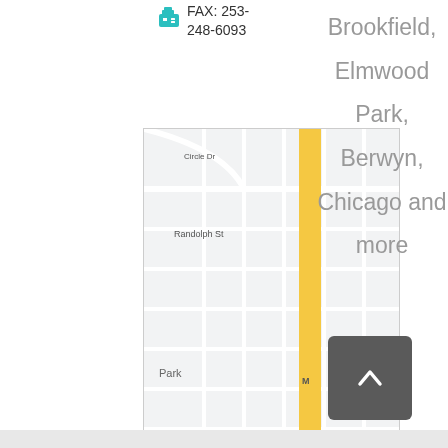FAX: 253-248-6093
[Figure (map): Street map showing Elmwood Park area near Randolph St, Harrison St, Circle Dr, and West Park Aquatic Center, with metro station marker]
Brookfield, Elmwood Park, Berwyn, Chicago and more
[Figure (logo): DPC Alliance Member logo — large bold DPC text with diamond symbol, ALLIANCE in bold caps, MEMBER in spaced caps below]
[Figure (other): Dark gray back-to-top button with upward chevron arrow]